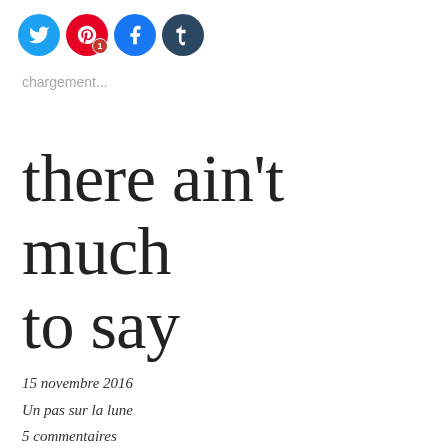[Figure (infographic): Social media sharing icons: Twitter (blue circle), Pinterest (red circle with badge '1'), Facebook (blue circle), Tumblr (dark navy circle)]
chargement...
there ain't much to say
15 novembre 2016
Un pas sur la lune
5 commentaires